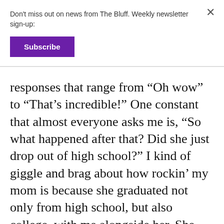Don't miss out on news from The Bluff. Weekly newsletter sign-up:
Subscribe
responses that range from “Oh wow” to “That’s incredible!” One constant that almost everyone asks me is, “So what happened after that? Did she just drop out of high school?” I kind of giggle and brag about how rockin’ my mom is because she graduated not only from high school, but also college, with me alongside her. She would work nights to provide for me, and she graduated with a four-year degree. If I were in her shoes, I would have a three-year-old at this point in my life. College is